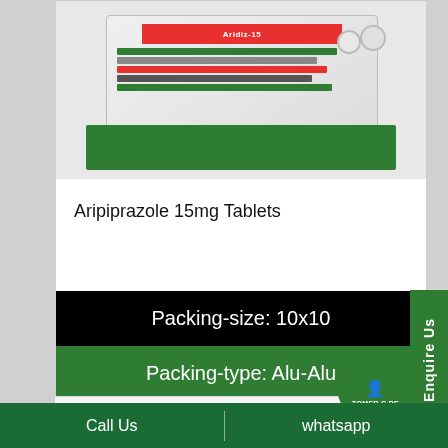[Figure (photo): Product photo of Aridiz-15 (Aripiprazole 15mg Tablets) showing tablet strip/blister pack and packaging box]
Aripiprazole 15mg Tablets
Packing-size: 10x10
Packing-type: Alu-Alu
ATHIOCARE 50
Enquire Us
Call Us
whatsapp